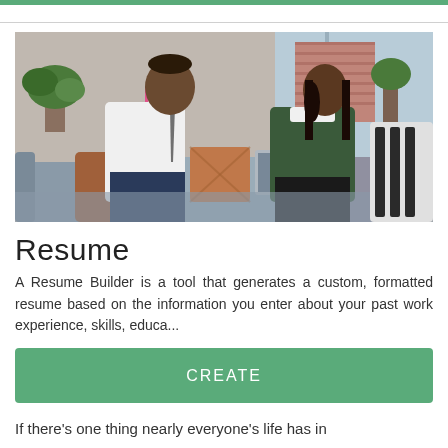[Figure (photo): Two people sitting across from each other in a modern office lounge area having a conversation. A man in a white shirt and tie sits on the left, and a woman in a dark green sweater sits on the right with a laptop.]
Resume
A Resume Builder is a tool that generates a custom, formatted resume based on the information you enter about your past work experience, skills, educa...
CREATE
If there’s one thing nearly everyone’s life has in